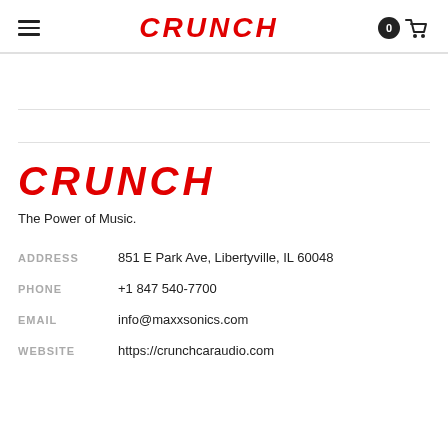CRUNCH
[Figure (logo): Crunch logo in red italic uppercase at bottom footer]
The Power of Music.
| ADDRESS | 851 E Park Ave, Libertyville, IL 60048 |
| PHONE | +1 847 540-7700 |
| EMAIL | info@maxxsonics.com |
| WEBSITE | https://crunchcaraudio.com |